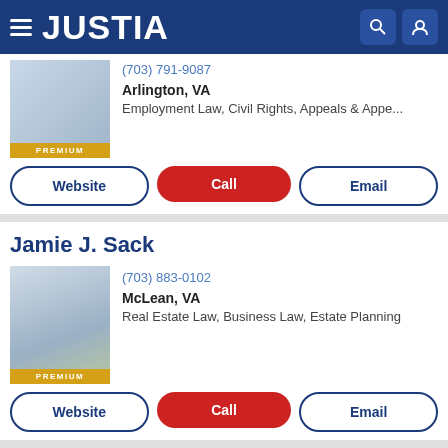JUSTIA
(703) 791-9087
Arlington, VA
Employment Law, Civil Rights, Appeals & Appe...
Website | Call | Email
Jamie J. Sack
(703) 883-0102
McLean, VA
Real Estate Law, Business Law, Estate Planning
Website | Call | Email
Merritt James Green PRO